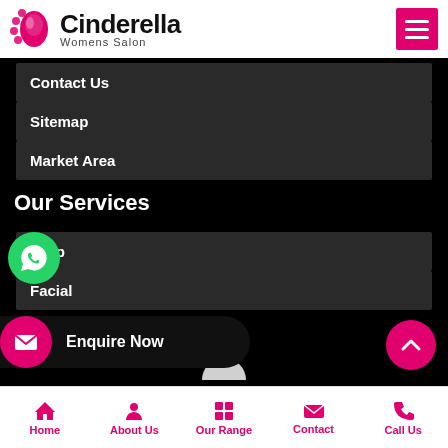[Figure (logo): Cinderella Womens Salon logo with pink flower/face graphic and hamburger menu icon]
Contact Us
Sitemap
Market Area
Our Services
Makeup
Facial
[Figure (infographic): Enquire Now bar with email icon and back-to-top button]
Manicure
Home | About Us | Our Range | Contact | Call Us